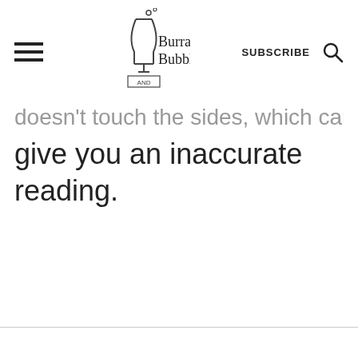Burrata and Bubbles — SUBSCRIBE
doesn't touch the sides, which can give you an inaccurate reading.